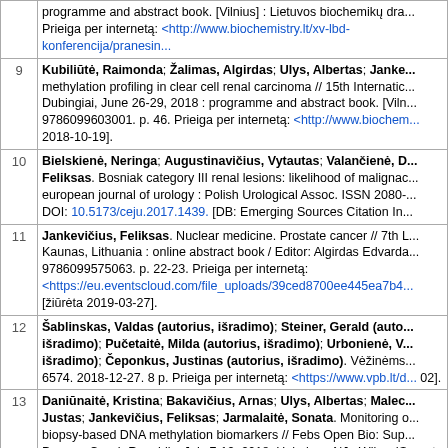programme and abstract book. [Vilnius] : Lietuvos biochemikų draugija. Prieiga per internetą: <http://www.biochemistry.lt/xv-lbd-konferencija/pranesin...
9. Kubiliūtė, Raimonda; Žalimas, Algirdas; Ulys, Albertas; Janke... methylation profiling in clear cell renal carcinoma // 15th International... Dubingiai, June 26-29, 2018 : programme and abstract book. [Viln... 9786099603001. p. 46. Prieiga per internetą: <http://www.biochem... [2018-10-19].
10. Bielskienė, Neringa; Augustinavičius, Vytautas; Valančienė, D... Feliksas. Bosniak category III renal lesions: likelihood of malgnan... european journal of urology : Polish Urological Assoc. ISSN 2080-... DOI: 10.5173/ceju.2017.1439. [DB: Emerging Sources Citation In...
11. Jankevičius, Feliksas. Nuclear medicine. Prostate cancer // 7th... Kaunas, Lithuania : online abstract book / Editor: Algirdas Edvard... 9786099575063. p. 22-23. Prieiga per internetą: <https://eu.eventscloud.com/file_uploads/39ced8700ee445ea7b4... [žiūrėta 2019-03-27].
12. Šablinskas, Valdas (autorius, išradimo); Steiner, Gerald (auto... išradimo); Pučetaitė, Milda (autorius, išradimo); Urbonienė, V... išradimo); Čeponkus, Justinas (autorius, išradimo). Vėžinėms... 6574. 2018-12-27. 8 p. Prieiga per internetą: <https://www.vpb.lt/d... 02].
13. Daniūnaitė, Kristina; Bakavičius, Arnas; Ulys, Albertas; Malec... Justas; Jankevičius, Feliksas; Jarmalaitė, Sonata. Monitoring... biopsy-based DNA methylation biomarkers // Febs Open Bio: Sup... Prague, Czech Republic, July 7-12, 2018. Hoboken, NJ : Wiley. IS... art. no. P.03-029-Tue, p. 145. DOI: 10.1002/2211-5463.12453. [D... 1.959; AIF: 4.417; Q4 (2018 InCities JCR SCIE)]